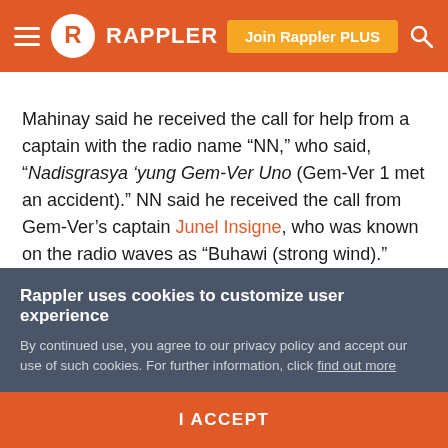Rappler — Join Rappler PLUS
Mahinay said he received the call for help from a captain with the radio name “NN,” who said, “Nadisgrasya ’yung Gem-Ver Uno (Gem-Ver 1 met an accident).” NN said he received the call from Gem-Ver’s captain Junel Insigne, who was known on the radio waves as “Buhawi (strong wind).”
“Noong nalaman ko, ’yung balahibo ko tumayo (When I heard that, the hair on my body stood on end),” Mahinay said. “Parang ano rin ako, kinakabahan din (I also felt
Rappler uses cookies to customize user experience
By continued use, you agree to our privacy policy and accept our use of such cookies. For further information, click find out more
I ACCEPT